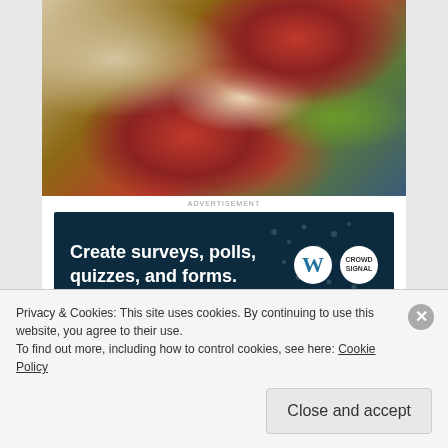[Figure (photo): Overhead shot of an Italian charcuterie/antipasto board with cured meats, burrata, olives, vegetables on a wooden board against a dark blue background, with bread in the corner]
ADVERTISEMENT
[Figure (screenshot): Advertisement banner for WordPress/Crowdsignal: 'Create surveys, polls, quizzes, and forms.' on dark navy background with WordPress and Crowdsignal logos]
REPORT THIS AD
For mains, Nine18 offers a mostly American-Italian selection. They have a variety of panini available,
Privacy & Cookies: This site uses cookies. By continuing to use this website, you agree to their use.
To find out more, including how to control cookies, see here: Cookie Policy
Close and accept